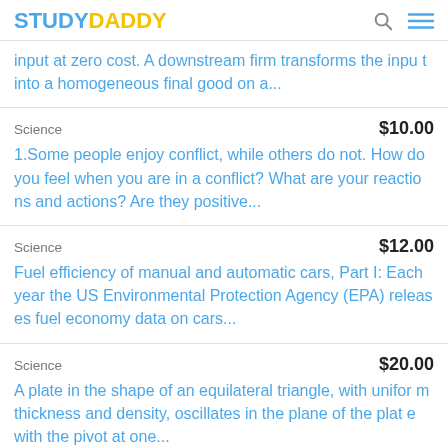STUDYDADDY
input at zero cost. A downstream firm transforms the input into a homogeneous final good on a...
Science   $10.00
1.Some people enjoy conflict, while others do not. How do you feel when you are in a conflict? What are your reactions and actions? Are they positive...
Science   $12.00
Fuel efficiency of manual and automatic cars, Part I: Each year the US Environmental Protection Agency (EPA) releases fuel economy data on cars...
Science   $20.00
A plate in the shape of an equilateral triangle, with uniform thickness and density, oscillates in the plane of the plate with the pivot at one...